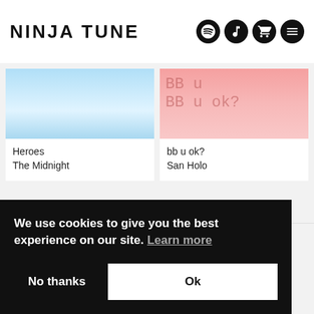NINJA TUNE
[Figure (screenshot): Album artwork for Heroes by The Midnight - blue sky gradient]
Heroes
The Midnight
[Figure (screenshot): Album artwork for bb u ok? by San Holo - pink background with handwritten text]
bb u ok?
San Holo
Contact Us
About Us
Customer Support
Big Dada
Counter
Brainfeeder
We use cookies to give you the best experience on our site. Learn more
No thanks
Ok